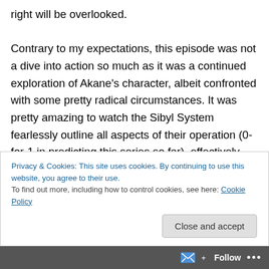right will be overlooked.

Contrary to my expectations, this episode was not a dive into action so much as it was a continued exploration of Akane's character, albeit confronted with some pretty radical circumstances. It was pretty amazing to watch the Sibyl System fearlessly outline all aspects of their operation (0-for-1 in predicting this series so far), effectively hidden behind the ironclad knowledge that she would feel she had to cooperate with them no matter what. For the system this is a somewhat unexpected benefit
Privacy & Cookies: This site uses cookies. By continuing to use this website, you agree to their use.
To find out more, including how to control cookies, see here: Cookie Policy
Follow ...